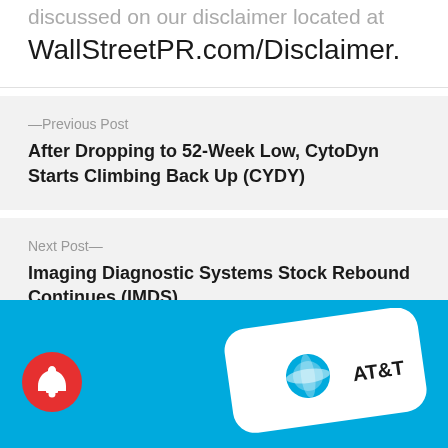discussed on our disclaimer located at WallStreetPR.com/Disclaimer.
—Previous Post
After Dropping to 52-Week Low, CytoDyn Starts Climbing Back Up (CYDY)
Next Post—
Imaging Diagnostic Systems Stock Rebound Continues (IMDS)
[Figure (photo): AT&T branded key on a bright blue background with a red notification bell icon in the lower left corner]